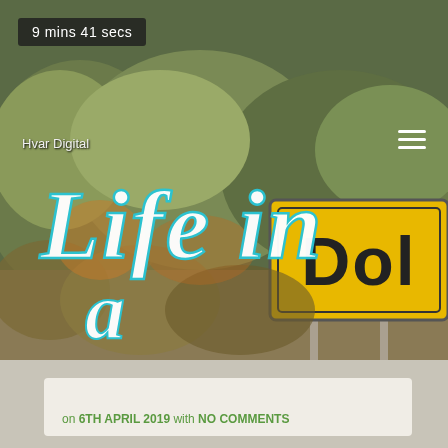9 mins 41 secs
[Figure (photo): Outdoor daytime photograph showing a yellow road sign reading 'Dol' with trees and foliage in the background. Overlaid with a cursive title 'Life in a Dol' in cyan/light blue script text.]
Hvar Digital
Life in a Dol
on 6TH APRIL 2019 with NO COMMENTS